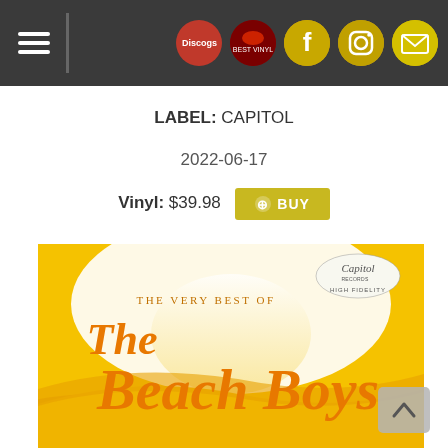Navigation header with hamburger menu and social icons (Discogs, red icon, Facebook, Instagram, mail)
LABEL: CAPITOL
2022-06-17
Vinyl: $39.98  BUY
[Figure (photo): Album cover for The Very Best of The Beach Boys on Capitol Records. Yellow/orange and white background with large orange script text reading 'The Beach Boys' and smaller text 'THE VERY BEST OF' above. Capitol Records logo in top right corner with 'HIGH FIDELITY' text.]